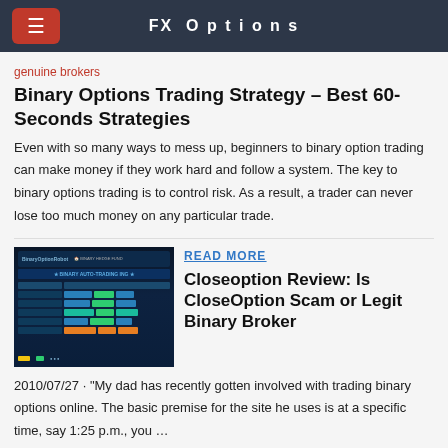FX Options
genuine brokers
Binary Options Trading Strategy – Best 60-Seconds Strategies
Even with so many ways to mess up, beginners to binary option trading can make money if they work hard and follow a system. The key to binary options trading is to control risk. As a result, a trader can never lose too much money on any particular trade.
[Figure (screenshot): Screenshot of Binary Option Robot and Binary Hedge Fund trading platform interface showing a comparison table with colored bars]
READ MORE
Closeoption Review: Is CloseOption Scam or Legit Binary Broker
2010/07/27 · "My dad has recently gotten involved with trading binary options online. The basic premise for the site he uses is at a specific time, say 1:25 p.m., you …